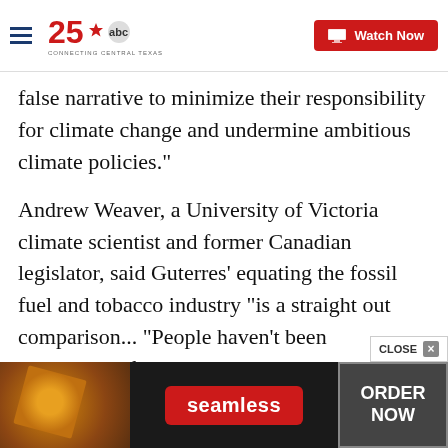25 abc CONNECTING CENTRAL TEXAS | Watch Now
false narrative to minimize their responsibility for climate change and undermine ambitious climate policies."
Andrew Weaver, a University of Victoria climate scientist and former Canadian legislator, said Guterres' equating the fossil fuel and tobacco industry "is a straight out comparison... "People haven't been accountable for what I would are in some sense some very serious crimes against society."
[Figure (screenshot): Seamless food delivery advertisement banner at the bottom of the page, showing pizza image on left, seamless logo in red pill in center, and ORDER NOW button on right with CLOSE button overlay]
CLOSE ×